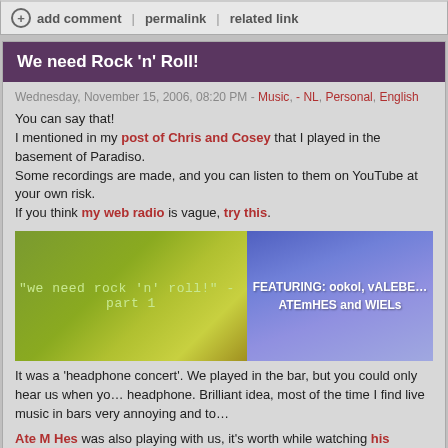add comment | permalink | related link
We need Rock 'n' Roll!
Wednesday, November 15, 2006, 08:20 PM - Music, - NL, Personal, English
You can say that!
I mentioned in my post of Chris and Cosey that I played in the basement of Paradiso.
Some recordings are made, and you can listen to them on YouTube at your own risk.
If you think my web radio is vague, try this.
[Figure (screenshot): Two video thumbnails side by side. Left: yellow-green background with text 'we need rock n roll! - part 1'. Right: purple/blue background with text 'FEATURING: ookol, vALEBE... ATEmHES and WIELs']
It was a 'headphone concert'. We played in the bar, but you could only hear us when yo... headphone. Brilliant idea, most of the time I find live music in bars very annoying and to...
Ate M Hes was also playing with us, it's worth while watching his videos on YouTube.
1 comment ( 62 views ) | permalink | related link